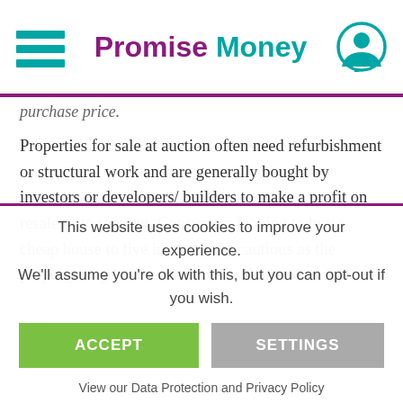Promise Money
purchase price.
Properties for sale at auction often need refurbishment or structural work and are generally bought by investors or developers/ builders to make a profit on resale or to rent out. Consumers looking to buy a cheap house to live in should be cautious as the property may have some flaws which are not
This website uses cookies to improve your experience. We'll assume you're ok with this, but you can opt-out if you wish.
ACCEPT
SETTINGS
View our Data Protection and Privacy Policy